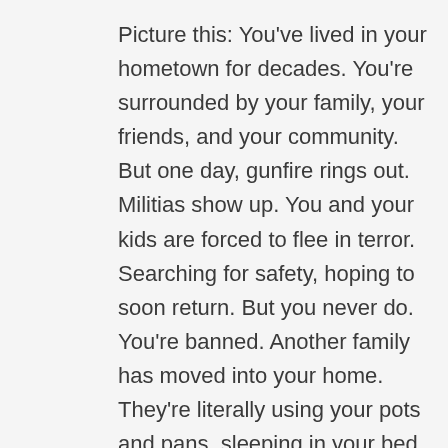Picture this: You've lived in your hometown for decades. You're surrounded by your family, your friends, and your community. But one day, gunfire rings out. Militias show up. You and your kids are forced to flee in terror. Searching for safety, hoping to soon return. But you never do. You're banned. Another family has moved into your home. They're literally using your pots and pans, sleeping in your bed. This is the 1948 Nakba, the catastrophe, the ethnic cleansing of Palestine, when Zionist militias invaded Palestinian cities and towns, massacred or executed about 800 people, took over 4 million acres of Palestinian land, destroyed or depopulated